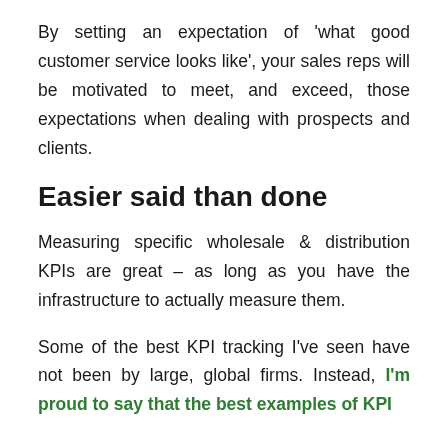By setting an expectation of 'what good customer service looks like', your sales reps will be motivated to meet, and exceed, those expectations when dealing with prospects and clients.
Easier said than done
Measuring specific wholesale & distribution KPIs are great – as long as you have the infrastructure to actually measure them.
Some of the best KPI tracking I've seen have not been by large, global firms. Instead, I'm proud to say that the best examples of KPI